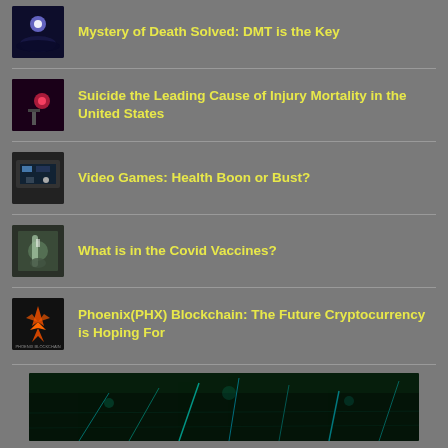Mystery of Death Solved: DMT is the Key
Suicide the Leading Cause of Injury Mortality in the United States
Video Games: Health Boon or Bust?
What is in the Covid Vaccines?
Phoenix(PHX) Blockchain: The Future Cryptocurrency is Hoping For
[Figure (photo): Dark teal/green forest or jungle scene at bottom of page]